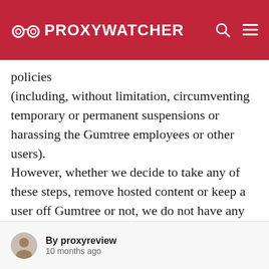PROXYWATCHER
policies (including, without limitation, circumventing temporary or permanent suspensions or harassing the Gumtree employees or other users). However, whether we decide to take any of these steps, remove hosted content or keep a user off Gumtree or not, we do not have any obligation to monitor the information transmitted or stored on Gumtree and we do
By proxyreview
10 months ago